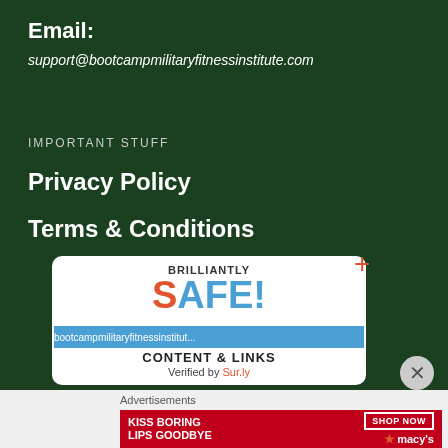Email:
support@bootcampmilitaryfitnessinstitute.com
IMPORTANT STUFF
Privacy Policy
Terms & Conditions
[Figure (other): Surly safety verification widget showing 'BRILLIANTLY SAFE!' with URL bar showing 'bootcampmilitaryfitnessinstitut...' and 'CONTENT & LINKS Verified by Sur.ly']
Advertisements
[Figure (other): Macy's advertisement banner: 'KISS BORING LIPS GOODBYE' with SHOP NOW button and Macy's star logo on red background]